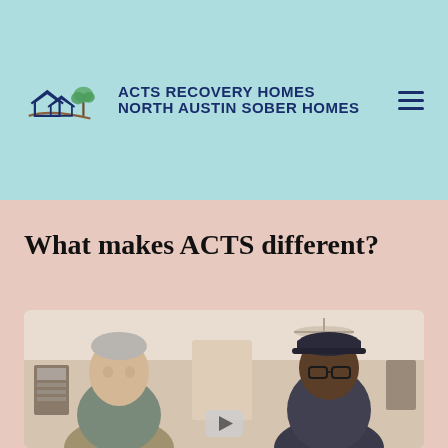[Figure (logo): Acts Recovery Homes / North Austin Sober Homes logo with house and tree illustration]
What makes ACTS different?
[Figure (photo): Two men standing indoors, one older white man on the left and one Black man wearing a cap and glasses on the right, with a ceiling fan visible above them and a YouTube play button overlay at the bottom center]